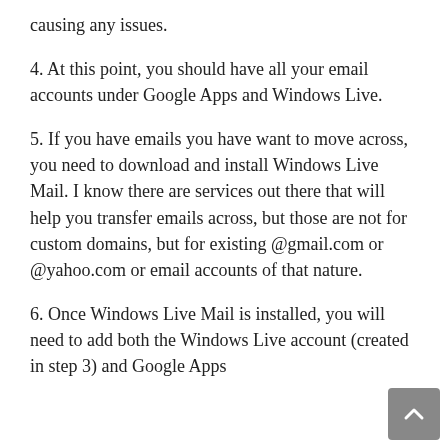causing any issues.
4. At this point, you should have all your email accounts under Google Apps and Windows Live.
5. If you have emails you have want to move across, you need to download and install Windows Live Mail. I know there are services out there that will help you transfer emails across, but those are not for custom domains, but for existing @gmail.com or @yahoo.com or email accounts of that nature.
6. Once Windows Live Mail is installed, you will need to add both the Windows Live account (created in step 3) and Google Apps